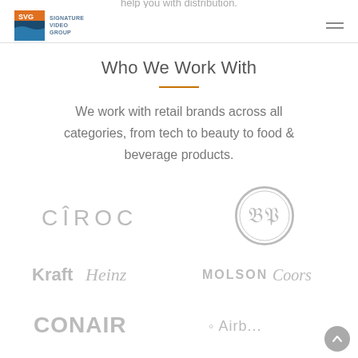Signature Video Group — navigation header
Who We Work With
We work with retail brands across all categories, from tech to beauty to food & beverage products.
[Figure (logo): CÎROC vodka brand logo in grey]
[Figure (logo): BP circular monogram logo in grey]
[Figure (logo): Kraft Heinz brand logo in grey]
[Figure (logo): Molson Coors brand logo in grey]
[Figure (logo): Conair brand logo in grey (partially visible)]